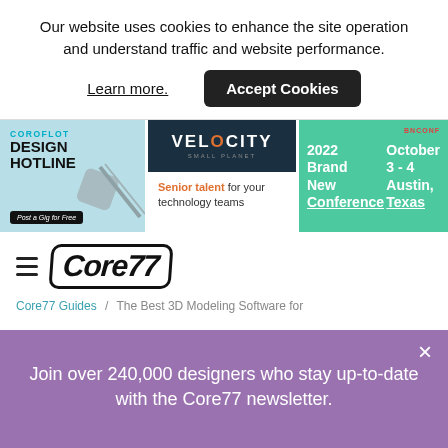Our website uses cookies to enhance the site operation and understand traffic and website performance.
Learn more.
Accept Cookies
[Figure (screenshot): Three advertisement banners: Coroflot Design Hotline (Post a Gig for Free), Velocity Small Planet (Senior talent for your technology teams), and a 2022 Brand New Conference October 3-4 Austin Texas on teal background]
[Figure (logo): Core77 website logo with hamburger menu icon]
Core77 Guides / The Best 3D Modeling Software for
Join over 240,000 designers who stay up-to-date with the Core77 newsletter.